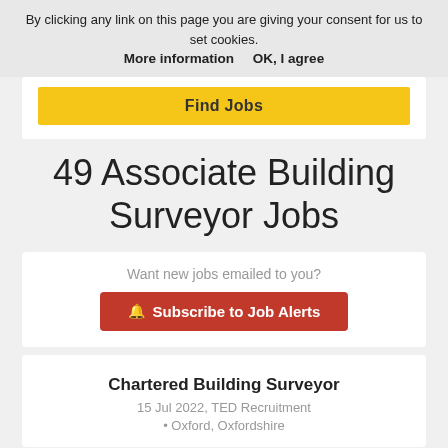By clicking any link on this page you are giving your consent for us to set cookies. More information   OK, I agree
[Figure (other): Find Jobs button in yellow]
49 Associate Building Surveyor Jobs
Want new jobs emailed to you?
[Figure (other): Subscribe to Job Alerts button in red with bell icon]
Chartered Building Surveyor
15 Jul 2022, TED Recruitment
Oxford, Oxfordshire